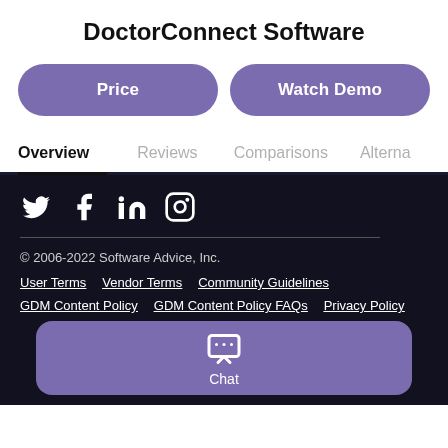DoctorConnect Software
Price
Watch Demo
Overview
Reviews
Comparisons
Alterna
[Figure (infographic): Social media icons: Twitter, Facebook, LinkedIn, Instagram]
© 2006-2022 Software Advice, Inc.
User Terms   Vendor Terms   Community Guidelines
GDM Content Policy   GDM Content Policy FAQs   Privacy Policy
Chat